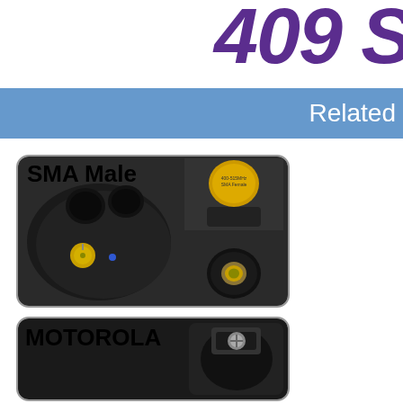409 S
Related
[Figure (photo): SMA Male connector photo showing radio body with SMA male pin connector, and two close-up images of antenna base showing female threaded connector and yellow-labeled antenna tip]
SMA Male
[Figure (photo): MOTOROLA connector type card with close-up photo of motorola-style antenna connector on a radio]
MOTOROLA